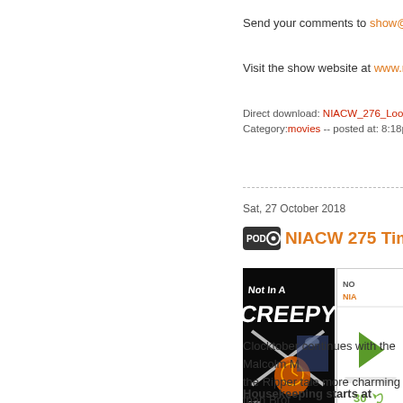Send your comments to show@notinacre...
Visit the show website at www.notinacree...
Direct download: NIACW_276_Looper.mp3
Category:movies -- posted at: 8:18pm AKDT
Sat, 27 October 2018
NIACW 275 Time A...
[Figure (screenshot): Podcast player widget showing album art for NIACW 275 with play button, NOT/NIACW labels, seek bar, and 30s rewind button]
Clocktober continues with the Malcolm M... the Ripper tale more charming than Broth... being neighborly.
Housekeeping starts at 50:50 and Eric...